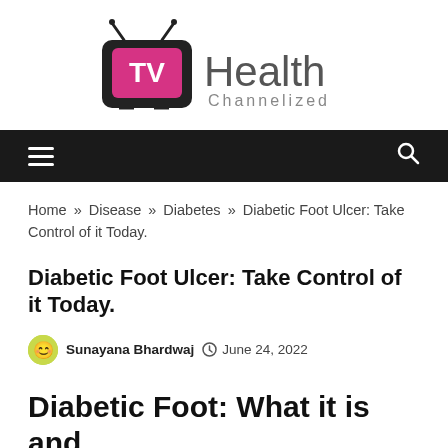[Figure (logo): TV Health Channelized logo — a retro TV icon with pink screen showing 'TV' in white, and 'Health Channelized' text beside it in dark gray]
Navigation bar with hamburger menu and search icon
Home » Disease » Diabetes » Diabetic Foot Ulcer: Take Control of it Today.
Diabetic Foot Ulcer: Take Control of it Today.
Sunayana Bhardwaj   June 24, 2022
Diabetic Foot: What it is and